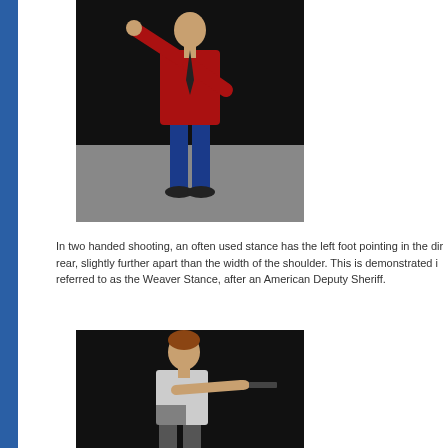[Figure (illustration): Illustration of a person in a shooting stance wearing a red jacket and blue jeans, standing against a black and grey background. The right arm is raised.]
In two handed shooting, an often used stance has the left foot pointing in the direction of fire, feet shoulder width apart with the right foot slightly to the rear, slightly further apart than the width of the shoulder. This is demonstrated in the lower figure. This is referred to as the Weaver Stance, after an American Deputy Sheriff.
[Figure (illustration): Illustration of a person in the Weaver Stance, arms extended holding a pistol, against a black background.]